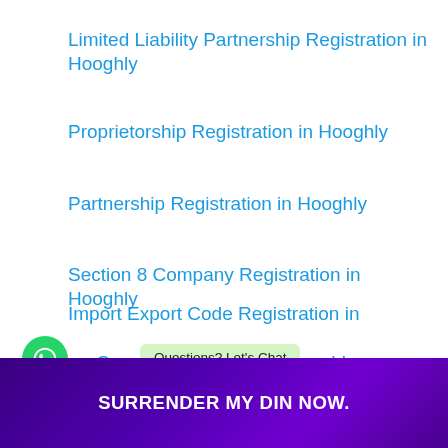Limited Liability Partnership Registration in Hooghly
Proprietorship Registration in Hooghly
Partnership Registration in Hooghly
Section 8 Company Registration in Hooghly
Import Export Code Registration in Hooghly
[Figure (screenshot): WhatsApp chat widget with green circular icon and 'Questions? Let's Chat' tooltip bubble, with partial text 'C...oghly' visible]
SURRENDER MY DIN NOW.